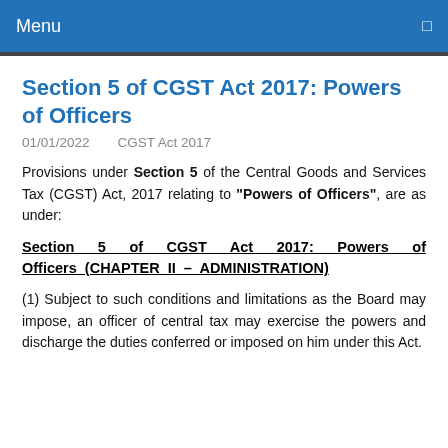Menu
Section 5 of CGST Act 2017: Powers of Officers
01/01/2022    CGST Act 2017
Provisions under Section 5 of the Central Goods and Services Tax (CGST) Act, 2017 relating to "Powers of Officers", are as under:
Section 5 of CGST Act 2017: Powers of Officers (CHAPTER II – ADMINISTRATION)
(1) Subject to such conditions and limitations as the Board may impose, an officer of central tax may exercise the powers and discharge the duties conferred or imposed on him under this Act.